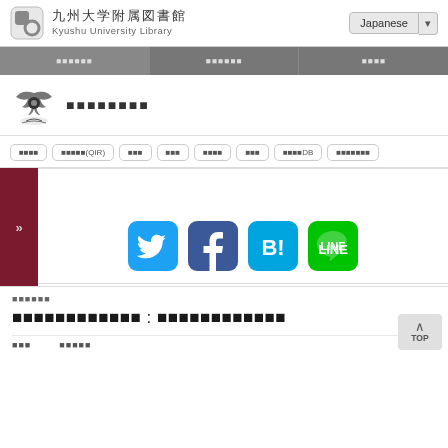九州大学附属図書館 Kyushu University Library
Japanese
ナビゲーション項目1
ナビゲーション項目2
ナビゲーション項目3
[Figure (logo): Kyushu University emblem with decorative wings]
ページのタイトル
タグ一覧
学術リポジトリ(QIR)
デジタル化
学術雑誌
図書館紹介
お知らせ
古書データDB
電子ジャーナル等
[Figure (logo): Social media icons: Twitter, Facebook, Hatena Bookmark, LINE]
カテゴリ名
タイトル情報のタイトル : サブタイトル情報
著者名　　　　出版情報